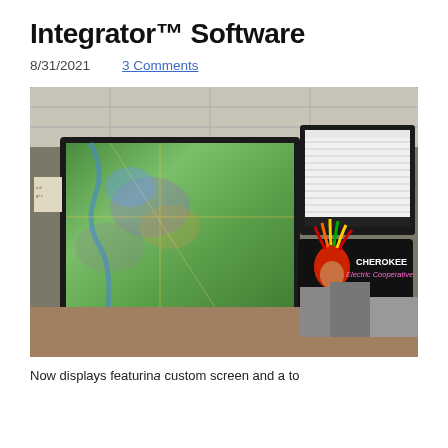Integrator™ Software
8/31/2021    3 Comments
[Figure (photo): Office room with two large monitors mounted on wall showing GIS map data (left monitor shows colorized satellite/aerial map) and a spreadsheet/list (right monitor). Below and to the right is a Cherokee Electric Cooperative logo sign with a Native American chief in headdress graphic. A desk with equipment is visible in the foreground.]
Now displays featurin a custom screen and a to